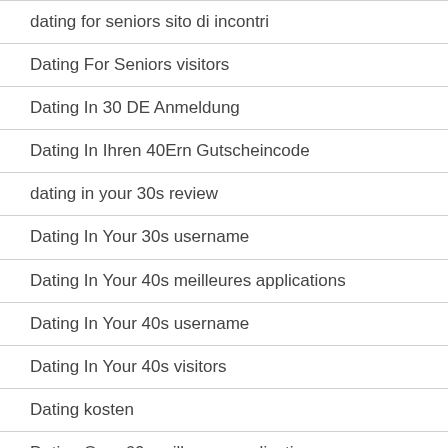dating for seniors sito di incontri
Dating For Seniors visitors
Dating In 30 DE Anmeldung
Dating In Ihren 40Ern Gutscheincode
dating in your 30s review
Dating In Your 30s username
Dating In Your 40s meilleures applications
Dating In Your 40s username
Dating In Your 40s visitors
Dating kosten
Dating Over 60 meilleures applications